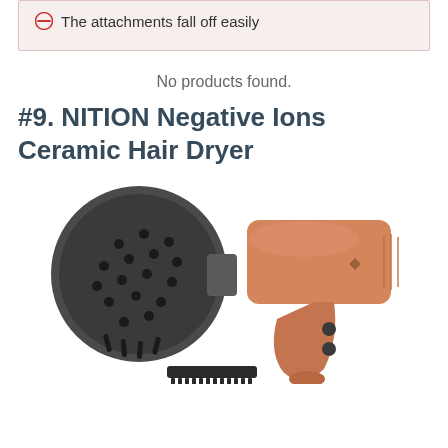The attachments fall off easily
No products found.
#9. NITION Negative Ions Ceramic Hair Dryer
[Figure (photo): NITION Negative Ions Ceramic Hair Dryer in rose gold/copper color with a black diffuser attachment on the front and a comb attachment below the handle.]